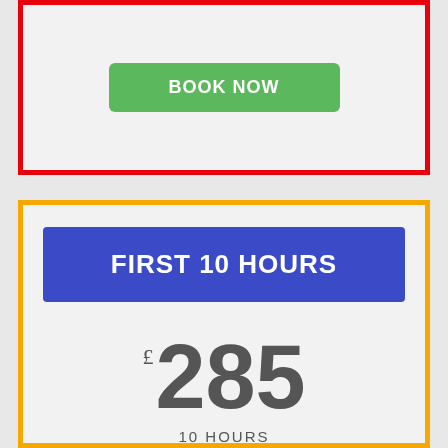[Figure (other): Top card with red border containing a green BOOK NOW button on a light gray background]
[Figure (other): Bottom card with gold/orange border containing a blue header bar reading FIRST 10 HOURS and price £285 with label 10 HOURS below]